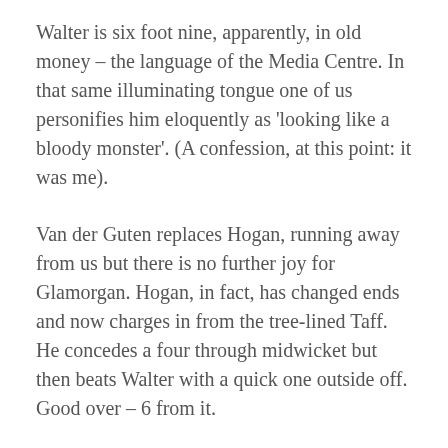Walter is six foot nine, apparently, in old money – the language of the Media Centre. In that same illuminating tongue one of us personifies him eloquently as 'looking like a bloody monster'. (A confession, at this point: it was me).
Van der Guten replaces Hogan, running away from us but there is no further joy for Glamorgan. Hogan, in fact, has changed ends and now charges in from the tree-lined Taff. He concedes a four through midwicket but then beats Walter with a quick one outside off. Good over – 6 from it.
Van der Gugten is a touch short of luck, barrelling in and spearing for the sticks but only finding a scruffy edge past the vacant leg-slip area. Hogan has a gentle word. Last ball also squirts past the keeper's